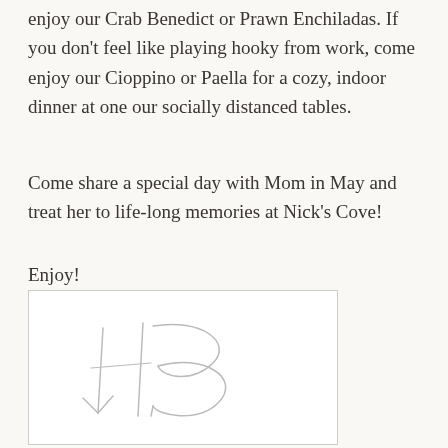enjoy our Crab Benedict or Prawn Enchiladas. If you don't feel like playing hooky from work, come enjoy our Cioppino or Paella for a cozy, indoor dinner at one our socially distanced tables.
Come share a special day with Mom in May and treat her to life-long memories at Nick's Cove!
Enjoy!
[Figure (illustration): A handwritten signature in pencil or light gray ink, appearing to be initials or a stylized signature, on a white background inside a light-bordered box.]